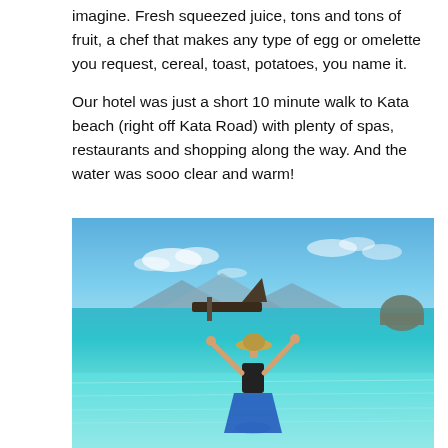imagine. Fresh squeezed juice, tons and tons of fruit, a chef that makes any type of egg or omelette you request, cereal, toast, potatoes, you name it.
Our hotel was just a short 10 minute walk to Kata beach (right off Kata Road) with plenty of spas, restaurants and shopping along the way. And the water was sooo clear and warm!
[Figure (photo): A woman in a bikini and blue sarong standing in clear turquoise water with arms raised joyfully. A long-tail boat, rocky island, and mountains are visible in the background under a blue sky with light clouds.]